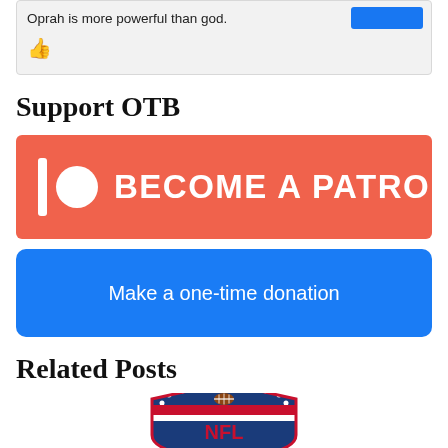Oprah is more powerful than god.
[Figure (other): Red thumbs-up icon]
Support OTB
[Figure (other): Patreon button: BECOME A PATRON with Patreon logo (bar and circle) on coral/red-orange background]
[Figure (other): Blue button: Make a one-time donation]
Related Posts
[Figure (logo): NFL shield logo]